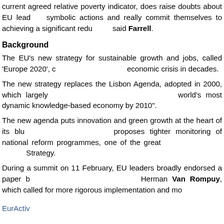current agreed relative poverty indicator, does raise doubts about EU leaders' symbolic actions and really commit themselves to achieving a significant reduction, said Farrell.
Background
The EU's new strategy for sustainable growth and jobs, called 'Europe 2020', comes amid the worst economic crisis in decades.
The new strategy replaces the Lisbon Agenda, adopted in 2000, which largely failed in its aim to make EU the world's most dynamic knowledge-based economy by 2010".
The new agenda puts innovation and green growth at the heart of its blueprint for recovery and proposes tighter monitoring of national reform programmes, one of the greatest failures of the Lisbon Strategy.
During a summit on 11 February, EU leaders broadly endorsed a paper by European Council President Herman Van Rompuy, which called for more rigorous implementation and monitoring.
EurActiv
Barroso presents Europe2020: blueprint for reforming EU economy